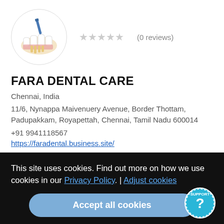[Figure (logo): Dental care logo showing teeth with a dental tool, inside a circle]
★★★★★ (0 reviews)
FARA DENTAL CARE
Chennai, India
11/6, Nynappa Maivenuery Avenue, Border Thottam, Padupakkam, Royapettah, Chennai, Tamil Nadu 600014
+91 9941118567
https://faradental.business.site/
This site uses cookies. Find out more on how we use cookies in our Privacy Policy. | Adjust cookies
Accept all cookies